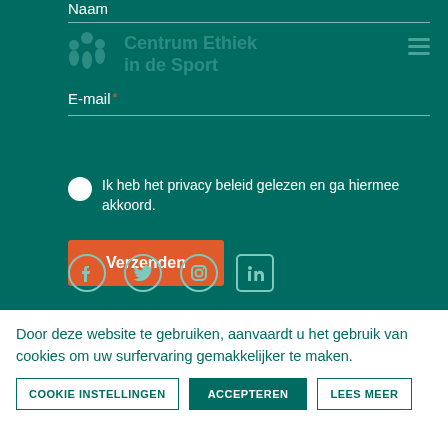Naam
E-mail *
[Figure (logo): Centrum Ethiek in de Sport logo with stylized figures, teal background, faded overlay]
Ik heb het privacy beleid gelezen en ga hiermee akkoord.
Verzenden
[Figure (infographic): Social media icons: Facebook, Twitter, Instagram, LinkedIn in white on teal background]
Door deze website te gebruiken, aanvaardt u het gebruik van cookies om uw surfervaring gemakkelijker te maken.
COOKIE INSTELLINGEN
ACCEPTEREN
LEES MEER